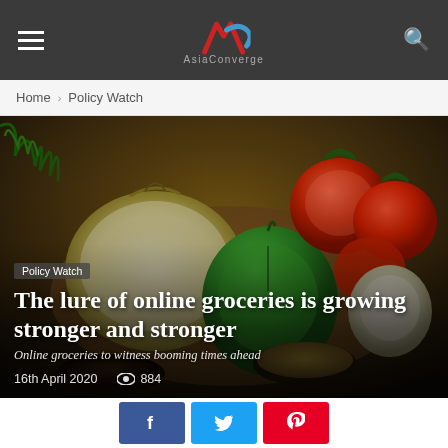AsiaConverge — hamburger menu, logo, search icon
Home › Policy Watch
[Figure (photo): Hero image of assorted fresh vegetables including onions, tomatoes, green bell pepper, garlic and spices on a wooden surface, with dark overlay gradient]
Policy Watch
The lure of online groceries is growing stronger and stronger
Online groceries to witness booming times ahead
16th April 2020   👁 884
Social share buttons: Facebook, Twitter, Pinterest